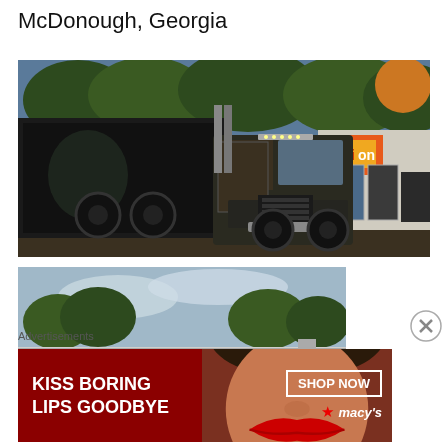McDonough, Georgia
[Figure (photo): A large black semi truck (Peterbilt cab-over style) parked in front of a Union 76 service station/garage. Trees visible in background. Dark trailer on left side.]
[Figure (photo): Partial view of a building rooftop with trees in the background against a cloudy sky.]
Advertisements
[Figure (photo): Advertisement banner: 'KISS BORING LIPS GOODBYE' with image of woman's face/lips. SHOP NOW button and Macy's logo with red star.]